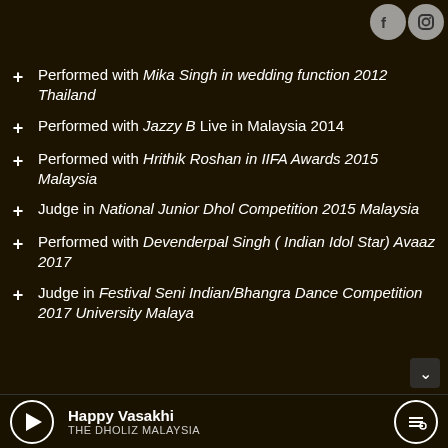Performed with Rohanpreet Singh, Harpreet Deol, Sumetha in Zee Nite 2010 Malaysia
Performed with Mika Singh in wedding function 2012 Thailand
Performed with Jazzy B Live in Malaysia 2014
Performed with Hrithik Roshan in IIFA Awards 2015 Malaysia
Judge in National Junior Dhol Competition 2015 Malaysia
Performed with Devenderpal Singh ( Indian Idol Star) Avaaz 2017
Judge in Festival Seni Indian/Bhangra Dance Competition 2017 University Malaya
Happy Vasakhi THE DHOLIZ MALAYSIA